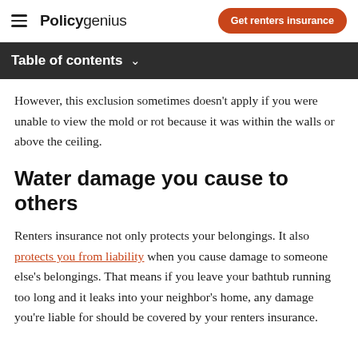Policygenius | Get renters insurance
Table of contents
However, this exclusion sometimes doesn't apply if you were unable to view the mold or rot because it was within the walls or above the ceiling.
Water damage you cause to others
Renters insurance not only protects your belongings. It also protects you from liability when you cause damage to someone else's belongings. That means if you leave your bathtub running too long and it leaks into your neighbor's home, any damage you're liable for should be covered by your renters insurance.